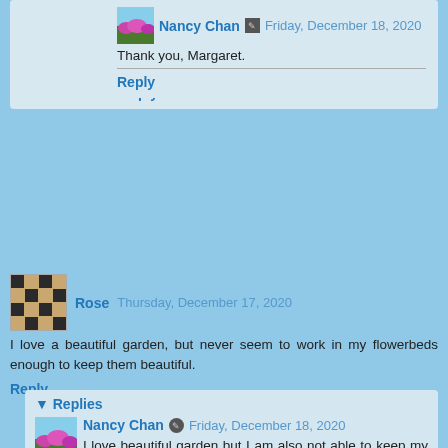Nancy Chan  Friday, December 18, 2020
Thank you, Margaret.
Reply
Rose  Thursday, December 17, 2020
I love a beautiful garden, but never seem to work in my flowerbeds enough to keep them beautiful.
Reply
Replies
Nancy Chan  Friday, December 18, 2020
I love beautiful garden but I am also not able to keep my garden beautiful like this one.
Reply